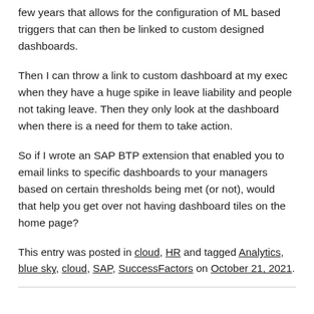few years that allows for the configuration of ML based triggers that can then be linked to custom designed dashboards.
Then I can throw a link to custom dashboard at my exec when they have a huge spike in leave liability and people not taking leave. Then they only look at the dashboard when there is a need for them to take action.
So if I wrote an SAP BTP extension that enabled you to email links to specific dashboards to your managers based on certain thresholds being met (or not), would that help you get over not having dashboard tiles on the home page?
This entry was posted in cloud, HR and tagged Analytics, blue sky, cloud, SAP, SuccessFactors on October 21, 2021.